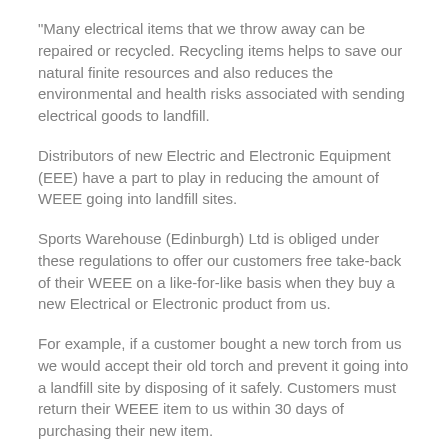"Many electrical items that we throw away can be repaired or recycled. Recycling items helps to save our natural finite resources and also reduces the environmental and health risks associated with sending electrical goods to landfill.
Distributors of new Electric and Electronic Equipment (EEE) have a part to play in reducing the amount of WEEE going into landfill sites.
Sports Warehouse (Edinburgh) Ltd is obliged under these regulations to offer our customers free take-back of their WEEE on a like-for-like basis when they buy a new Electrical or Electronic product from us.
For example, if a customer bought a new torch from us we would accept their old torch and prevent it going into a landfill site by disposing of it safely. Customers must return their WEEE item to us within 30 days of purchasing their new item.